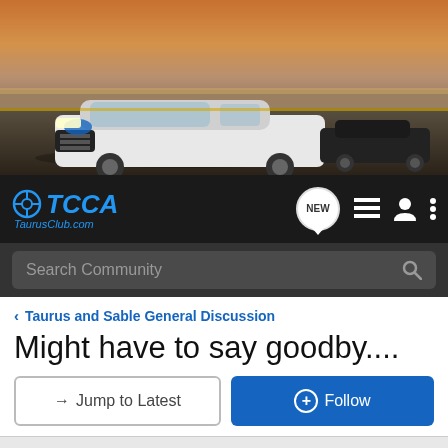[Figure (photo): Hero banner showing white Ford Taurus on road with dark car in background, desert landscape, warm sunset lighting]
[Figure (logo): TCCA TaurusClub.com logo with navigation icons including NEW badge, list icon, user icon, and dots menu]
Search Community
< Taurus and Sable General Discussion
Might have to say goodby....
→ Jump to Latest
+ Follow
1 - 3 of 3 Posts
Mike B · Registered
Joined Oct 5, 2008 · 151 Posts